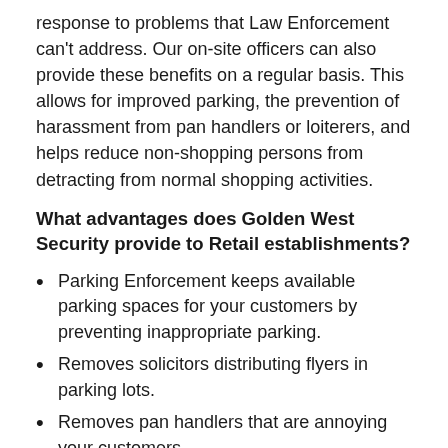response to problems that Law Enforcement can't address. Our on-site officers can also provide these benefits on a regular basis. This allows for improved parking, the prevention of harassment from pan handlers or loiterers, and helps reduce non-shopping persons from detracting from normal shopping activities.
What advantages does Golden West Security provide to Retail establishments?
Parking Enforcement keeps available parking spaces for your customers by preventing inappropriate parking.
Removes solicitors distributing flyers in parking lots.
Removes pan handlers that are annoying your customers.
Prevention of after-hours employee theft.